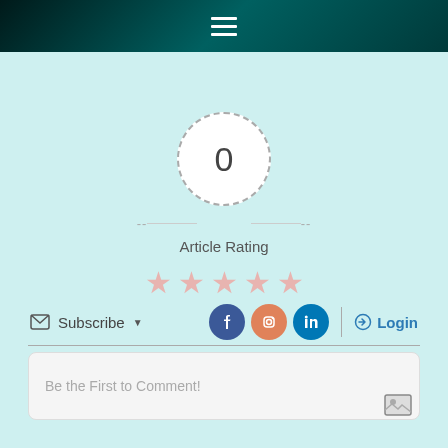Navigation menu header with hamburger icon
[Figure (infographic): Article rating widget showing '0' in a dashed circle with dashes on either side, text 'Article Rating' below, and five light pink empty stars]
Subscribe
[Figure (infographic): Social media icons: Facebook (blue circle), Instagram (orange circle), LinkedIn (blue circle), then a vertical divider and Login button with arrow icon]
Be the First to Comment!